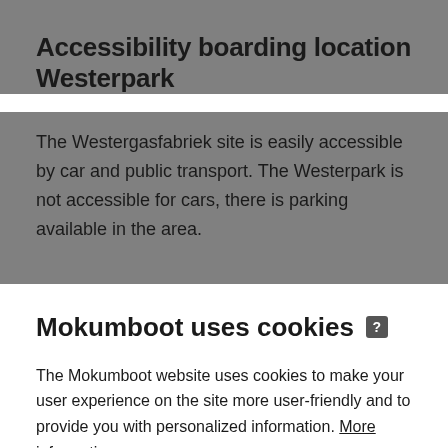Accessibility boarding location Westerpark
The Westergasfabriek site is easily accessible by car and public transport. The Westerpark is not accessible for cars, there is parking available in the area.
Mokumboot uses cookies ?
The Mokumboot website uses cookies to make your user experience on the site more user-friendly and to provide you with personalized information. More information
Accept   Decline